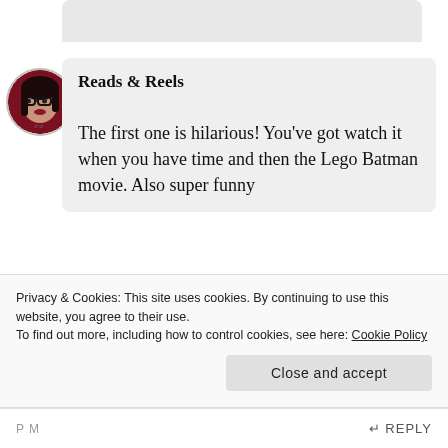[Figure (photo): Circular avatar photo of a woman with dark hair and glasses, wearing red, with dark lipstick and visible tattoos]
Reads & Reels
The first one is hilarious! You've got watch it when you have time and then the Lego Batman movie. Also super funny
Privacy & Cookies: This site uses cookies. By continuing to use this website, you agree to their use.
To find out more, including how to control cookies, see here: Cookie Policy
Close and accept
P M
REPLY